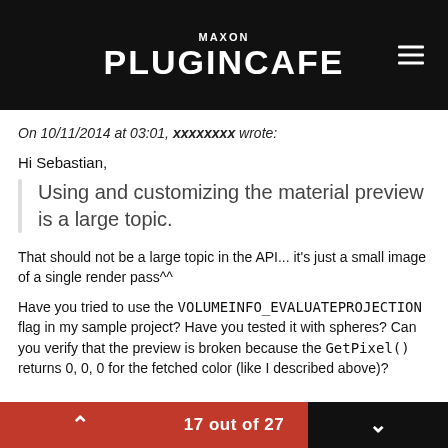MAXON PLUGINCAFE
On 10/11/2014 at 03:01, xxxxxxxx wrote:
Hi Sebastian,
Using and customizing the material preview is a large topic.
That should not be a large topic in the API... it's just a small image of a single render pass^^
Have you tried to use the VOLUMEINFO_EVALUATEPROJECTION flag in my sample project? Have you tested it with spheres? Can you verify that the preview is broken because the GetPixel() returns 0, 0, 0 for the fetched color (like I described above)?
17 out of 27